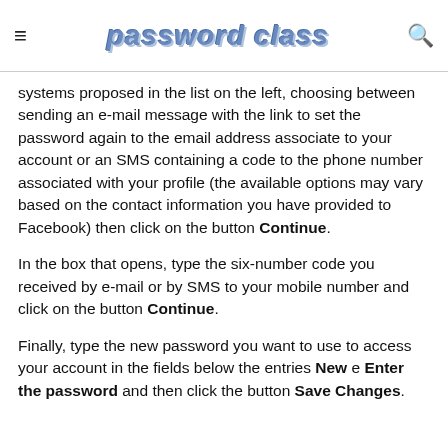≡  password class  🔍
systems proposed in the list on the left, choosing between sending an e-mail message with the link to set the password again to the email address associate to your account or an SMS containing a code to the phone number associated with your profile (the available options may vary based on the contact information you have provided to Facebook) then click on the button Continue.
In the box that opens, type the six-number code you received by e-mail or by SMS to your mobile number and click on the button Continue.
Finally, type the new password you want to use to access your account in the fields below the entries New e Enter the password and then click the button Save Changes.